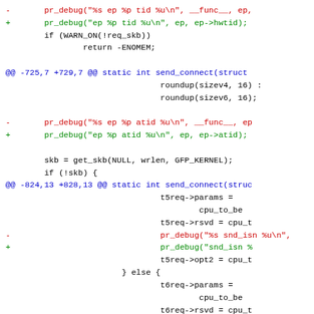Code diff showing changes to send_connect function with pr_debug modifications